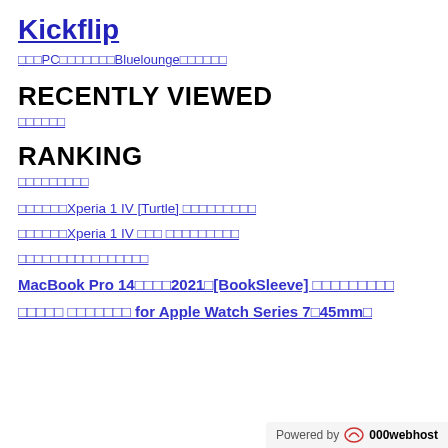Kickflip
□□□PC□□□□□□□□Bluelounge□□□□□□
RECENTLY VIEWED
□□□□□□
RANKING
□□□□□□□□□
□□□□□□Xperia 1 IV [Turtle] □□□□□□□□□
□□□□□□Xperia 1 IV □□□ □□□□□□□□□
□□□□□□□□□□□□□□□□
MacBook Pro 14□□□□2021□[BookSleeve] □□□□□□□□□
□□□□□ □□□□□□□ for Apple Watch Series 7□45mm□
Powered by 000webhost